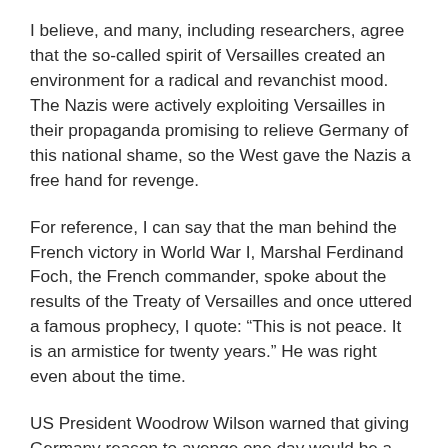I believe, and many, including researchers, agree that the so-called spirit of Versailles created an environment for a radical and revanchist mood. The Nazis were actively exploiting Versailles in their propaganda promising to relieve Germany of this national shame, so the West gave the Nazis a free hand for revenge.
For reference, I can say that the man behind the French victory in World War I, Marshal Ferdinand Foch, the French commander, spoke about the results of the Treaty of Versailles and once uttered a famous prophecy, I quote: “This is not peace. It is an armistice for twenty years.” He was right even about the time.
US President Woodrow Wilson warned that giving Germany reason to avenge one day would be a big mistake. The internationally renowned Winston Churchill wrote that the economic articles of the treaty were vicious and stupid